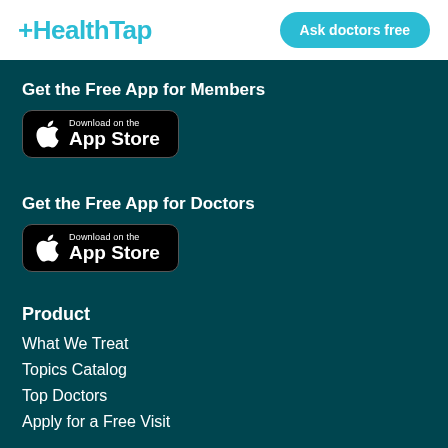[Figure (logo): HealthTap logo with teal color and plus sign prefix]
Ask doctors free
Get the Free App for Members
[Figure (illustration): Download on the App Store button (black rounded rectangle with Apple logo)]
Get the Free App for Doctors
[Figure (illustration): Download on the App Store button (black rounded rectangle with Apple logo)]
Product
What We Treat
Topics Catalog
Top Doctors
Apply for a Free Visit